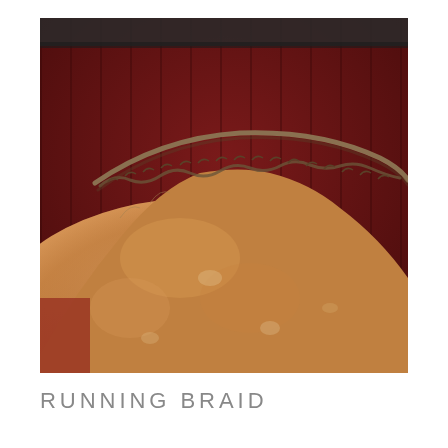[Figure (photo): Close-up photograph of a horse's neck and mane with a running braid along the crest, set against a dark red barn wall background. The horse has a chestnut/palomino coat.]
RUNNING BRAID